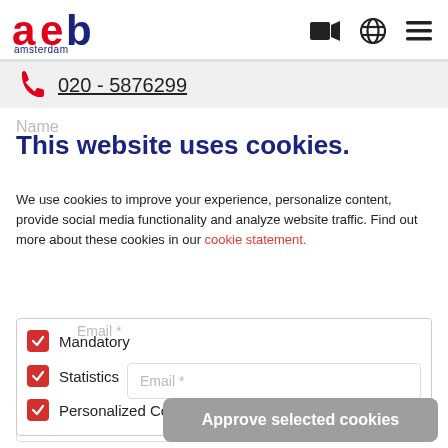[Figure (logo): AEB Amsterdam logo with stylized red and blue letters 'aeb' and 'amsterdam' text below]
[Figure (infographic): Header navigation icons: video camera, globe, hamburger menu]
020 - 5876299
This website uses cookies.
We use cookies to improve your experience, personalize content, provide social media functionality and analyze website traffic. Find out more about these cookies in our cookie statement.
Mandatory
Statistics
Personalized Content
Approve selected cookies